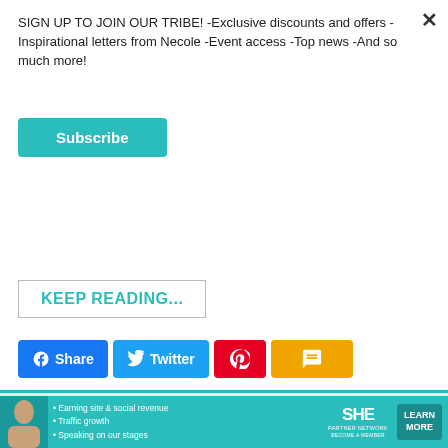SIGN UP TO JOIN OUR TRIBE! -Exclusive discounts and offers -Inspirational letters from Necole -Event access -Top news -And so much more!
Subscribe
KEEP READING...
[Figure (infographic): Social share buttons row: Facebook Share, Twitter, Pinterest, SMS]
[Figure (infographic): Gray advertisement band area]
POPULAR
[Figure (infographic): SHE Partner Network advertisement banner at bottom]